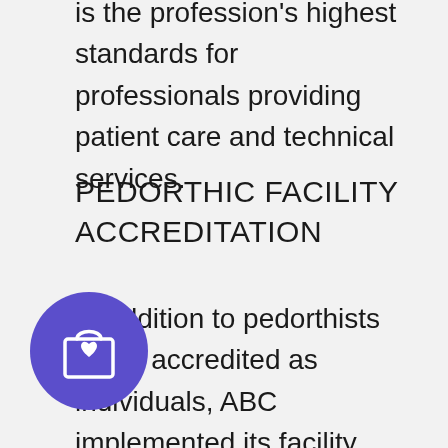is the profession's highest standards for professionals providing patient care and technical services.
PEDORTHIC FACILITY ACCREDITATION
In addition to pedorthists being accredited as individuals, ABC implemented its facility accreditation program in 1948 guided by the view that accreditation should be founded upon standards that are broad in
[Figure (illustration): A circular purple/violet button with a shopping bag icon featuring a heart symbol]